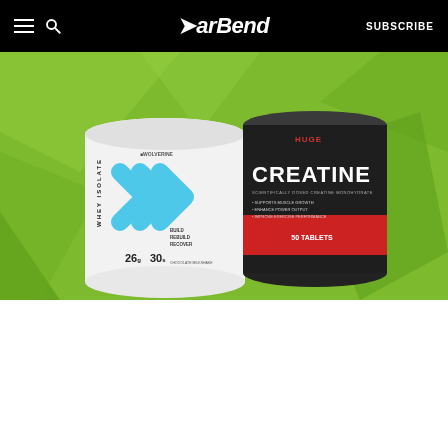BarBend — SUBSCRIBE
[Figure (photo): Hero banner with two supplement products on a green geometric background: a white tub of Wolverine Whey Isolate (26g protein, 30 servings) on the left, and a dark container of Huge Creatine (Scientifically Dosed Creatine Monohydrate, 50 tablets) with red label on the right.]